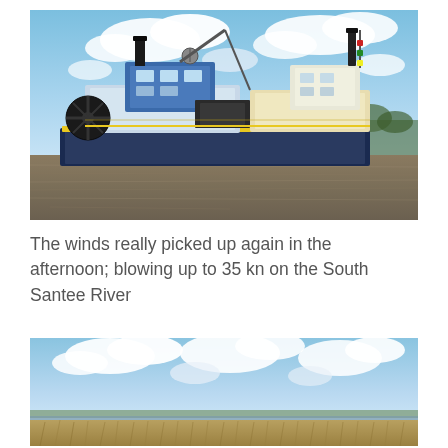[Figure (photo): A dredging vessel or tugboat on a wide river under a partly cloudy blue sky. The vessel is blue and white with industrial equipment visible on deck. Brown choppy water in the foreground, trees visible in the background.]
The winds really picked up again in the afternoon; blowing up to 35 kn on the South Santee River
[Figure (photo): A wide open landscape with a large sky filled with white clouds. Low marshy grass or reeds in the foreground, a river or body of water visible, flat terrain extending to the horizon.]